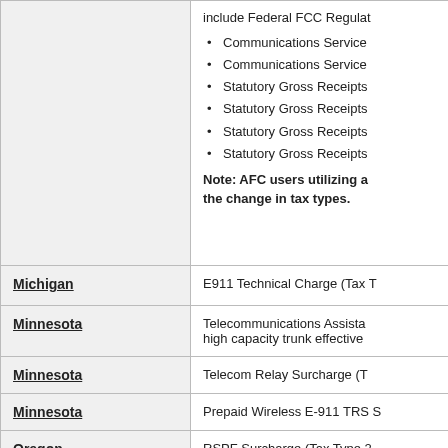include Federal FCC Regulat...
Communications Service
Communications Service
Statutory Gross Receipts
Statutory Gross Receipts
Statutory Gross Receipts
Statutory Gross Receipts
Note: AFC users utilizing a... the change in tax types.
| State | Description |
| --- | --- |
| Michigan | E911 Technical Charge (Tax T... |
| Minnesota | Telecommunications Assista... high capacity trunk effective... |
| Minnesota | Telecom Relay Surcharge (T... |
| Minnesota | Prepaid Wireless E-911 TRS S... |
| Oregon | RSPF Surcharge (Tax Type 2... |